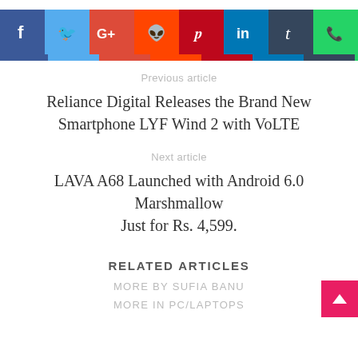[Figure (other): Social media share buttons: Facebook, Twitter, Google+, Reddit, Pinterest, LinkedIn, Tumblr, WhatsApp]
Previous article
Reliance Digital Releases the Brand New Smartphone LYF Wind 2 with VoLTE
Next article
LAVA A68 Launched with Android 6.0 Marshmallow Just for Rs. 4,599.
RELATED ARTICLES
MORE BY SUFIA BANU
MORE IN PC/LAPTOPS